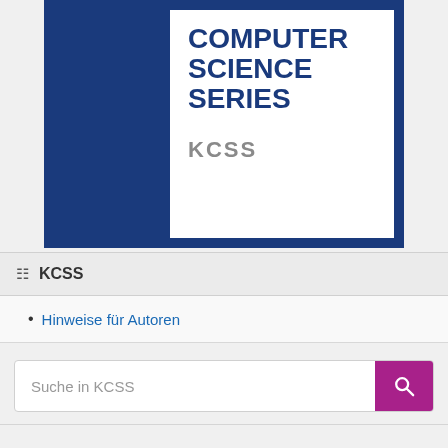[Figure (illustration): Book cover for KCSS (KIT Computer Science Series) showing a blue bordered white panel with bold dark blue text reading COMPUTER SCIENCE SERIES and gray text KCSS below.]
KCSS
Hinweise für Autoren
Suche in KCSS